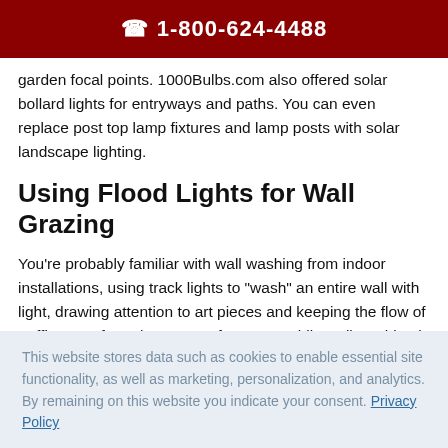☎ 1-800-624-4488
garden focal points. 1000Bulbs.com also offered solar bollard lights for entryways and paths. You can even replace post top lamp fixtures and lamp posts with solar landscape lighting.
Using Flood Lights for Wall Grazing
You're probably familiar with wall washing from indoor installations, using track lights to "wash" an entire wall with light, drawing attention to art pieces and keeping the flow of traffic away from the center of a room. While wall washing is done at ceiling height, wall grazing is done from the ground. Though it may sound similar, the desired effect is quite the
This website stores data such as cookies to enable essential site functionality, as well as marketing, personalization, and analytics. By remaining on this website you indicate your consent. Privacy Policy